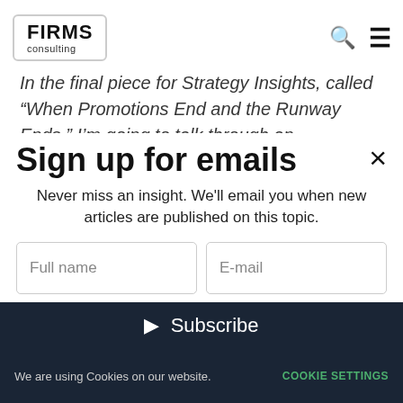FIRMS consulting
In the final piece for Strategy Insights, called “When Promotions End and the Runway Ends,” I’m going to talk through an
Sign up for emails
Never miss an insight. We’ll email you when new articles are published on this topic.
Full name
E-mail
Subscribe
We are using Cookies on our website.  COOKIE SETTINGS